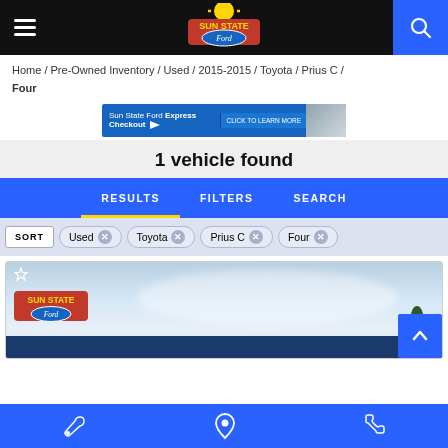[Figure (screenshot): Sun State Ford dealership website header with hamburger menu, Sun State Ford logo, and blue search button]
Home / Pre-Owned Inventory / Used / 2015-2015 / Toyota / Prius C / Four
[Figure (infographic): Sun State Ford Express Checkout banner advertisement with blue background and click to learn more button]
1 vehicle found
RESULTS    FILTERS    SEARCH
SORT   Used ✕   Toyota ✕   Prius C ✕   Four ✕
[Figure (photo): Sun State Ford dealership exterior photo with logo overlay]